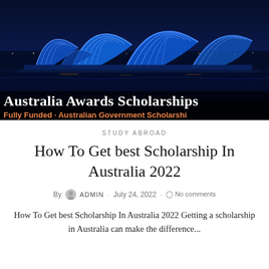[Figure (photo): Nighttime photo of Sydney Opera House illuminated in blue light, with text overlay reading 'Australia Awards Scholarships' and 'Fully Funded · Australian Government Scholarshi']
STUDY ABROAD
How To Get best Scholarship In Australia 2022
By ADMIN · July 24, 2022 · No comments
How To Get best Scholarship In Australia 2022 Getting a scholarship in Australia can make the difference...